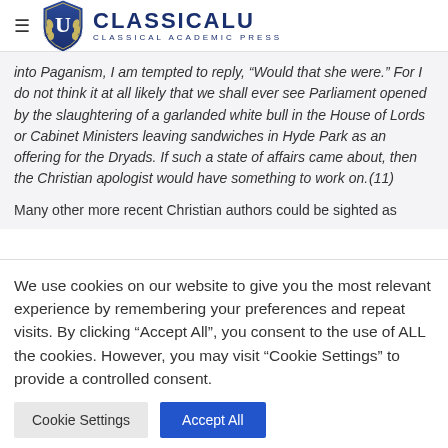ClassicalU — Classical Academic Press
into Paganism, I am tempted to reply, “Would that she were.” For I do not think it at all likely that we shall ever see Parliament opened by the slaughtering of a garlanded white bull in the House of Lords or Cabinet Ministers leaving sandwiches in Hyde Park as an offering for the Dryads. If such a state of affairs came about, then the Christian apologist would have something to work on. (11)
Many other more recent Christian authors could be sighted as
We use cookies on our website to give you the most relevant experience by remembering your preferences and repeat visits. By clicking “Accept All”, you consent to the use of ALL the cookies. However, you may visit “Cookie Settings” to provide a controlled consent.